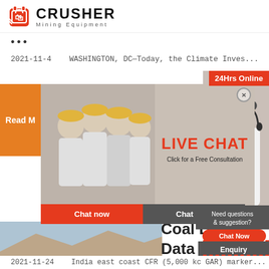[Figure (logo): Crusher Mining Equipment logo with red shopping bag icon and bold CRUSHER text]
...
2021-11-4   WASHINGTON, DC—Today, the Climate Inves...
[Figure (photo): Group of construction workers in yellow hard hats]
[Figure (infographic): Live Chat popup with 'LIVE CHAT Click for a Free Consultation', Chat now and Chat later buttons]
[Figure (photo): Customer service agent with headset]
24Hrs Online
Read M
[Figure (photo): Open pit mining site with heavy machinery]
Coal D
Data
Index
Marki
Need questions & suggestion?
Chat Now
Enquiry
limingjlmofen@sina.com
2021-11-24   India east coast CFR (5,000 kc GAR) marker...